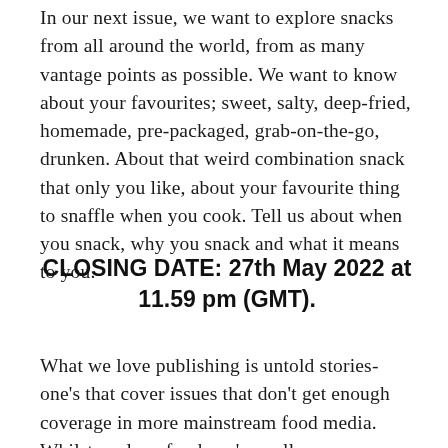In our next issue, we want to explore snacks from all around the world, from as many vantage points as possible. We want to know about your favourites; sweet, salty, deep-fried, homemade, pre-packaged, grab-on-the-go, drunken. About that weird combination snack that only you like, about your favourite thing to snaffle when you cook. Tell us about when you snack, why you snack and what it means to you.
CLOSING DATE: 27th May 2022 at 11.59 pm (GMT).
What we love publishing is untold stories- one's that cover issues that don't get enough coverage in more mainstream food media. Whilst we love food, we're well aware relationships with food aren't always plain sailing, so we welcome